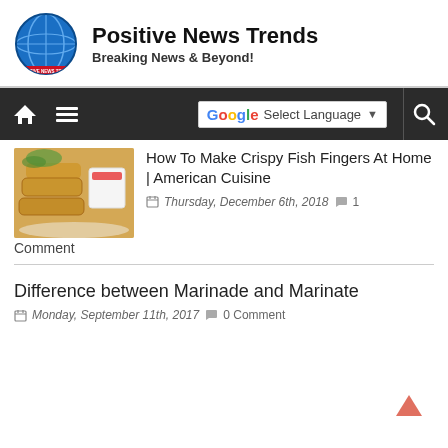Positive News Trends — Breaking News & Beyond!
[Figure (screenshot): Navigation bar with home, menu icons, Google Translate selector, and search icon on dark background]
[Figure (photo): Crispy fish fingers with dipping sauce thumbnail image]
How To Make Crispy Fish Fingers At Home | American Cuisine
Thursday, December 6th, 2018  1 Comment
Difference between Marinade and Marinate
Monday, September 11th, 2017  0 Comment